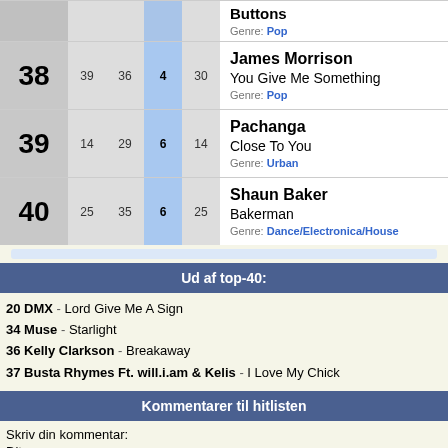| Rank | Prev | Peak | Wks | Artist/Song |
| --- | --- | --- | --- | --- |
| 38 | 39 | 36 | 4 / 30 | James Morrison - You Give Me Something (Genre: Pop) |
| 39 | 14 | 29 | 6 / 14 | Pachanga - Close To You (Genre: Urban) |
| 40 | 25 | 35 | 6 / 25 | Shaun Baker - Bakerman (Genre: Dance/Electronica/House) |
Ud af top-40:
20 DMX - Lord Give Me A Sign
34 Muse - Starlight
36 Kelly Clarkson - Breakaway
37 Busta Rhymes Ft. will.i.am & Kelis - I Love My Chick
Kommentarer til hitlisten
Skriv din kommentar:
Dit navn: